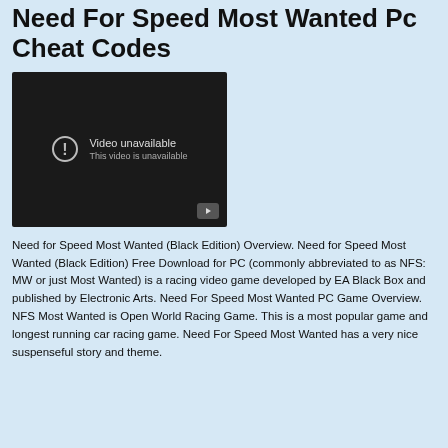Need For Speed Most Wanted Pc Cheat Codes
[Figure (screenshot): Embedded video player showing 'Video unavailable' message with exclamation icon and YouTube play button in bottom right corner.]
Need for Speed Most Wanted (Black Edition) Overview. Need for Speed Most Wanted (Black Edition) Free Download for PC (commonly abbreviated to as NFS: MW or just Most Wanted) is a racing video game developed by EA Black Box and published by Electronic Arts. Need For Speed Most Wanted PC Game Overview. NFS Most Wanted is Open World Racing Game. This is a most popular game and longest running car racing game. Need For Speed Most Wanted has a very nice suspenseful story and theme.